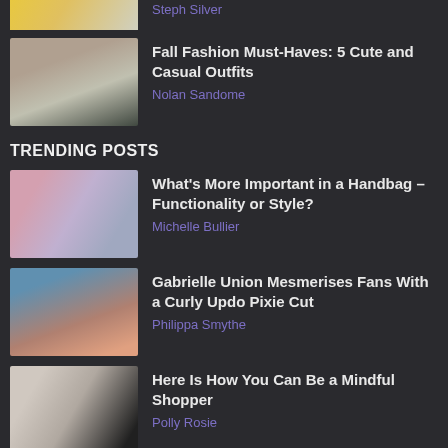Steph Silver
Fall Fashion Must-Haves: 5 Cute and Casual Outfits
Nolan Sandome
TRENDING POSTS
What's More Important in a Handbag – Functionality or Style?
Michelle Bullier
Gabrielle Union Mesmerises Fans With a Curly Updo Pixie Cut
Philippa Smythe
Here Is How You Can Be a Mindful Shopper
Polly Rosie